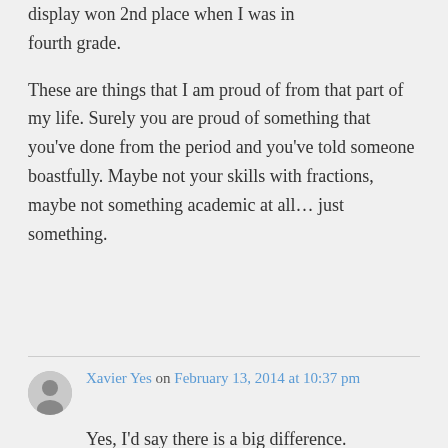display won 2nd place when I was in fourth grade.
These are things that I am proud of from that part of my life. Surely you are proud of something that you've done from the period and you've told someone boastfully. Maybe not your skills with fractions, maybe not something academic at all… just something.
Xavier Yes on February 13, 2014 at 10:37 pm
Yes, I'd say there is a big difference.